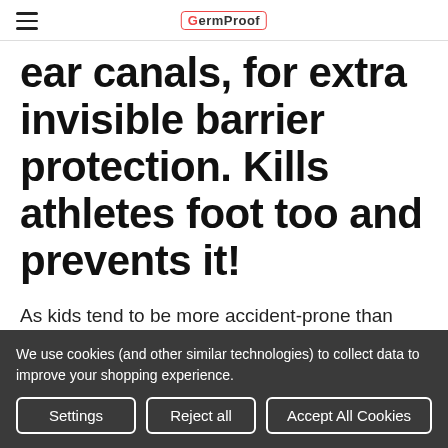GermProof
ear canals, for extra invisible barrier protection. Kills athletes foot too and prevents it!
As kids tend to be more accident-prone than adults, there is a need for a natural, gentle, yet
We use cookies (and other similar technologies) to collect data to improve your shopping experience.
Settings | Reject all | Accept All Cookies